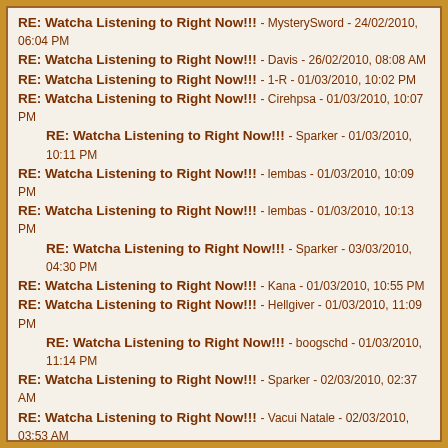RE: Watcha Listening to Right Now!!! - MysterySword - 24/02/2010, 06:04 PM
RE: Watcha Listening to Right Now!!! - Davis - 26/02/2010, 08:08 AM
RE: Watcha Listening to Right Now!!! - 1-R - 01/03/2010, 10:02 PM
RE: Watcha Listening to Right Now!!! - Cirehpsa - 01/03/2010, 10:07 PM
RE: Watcha Listening to Right Now!!! - Sparker - 01/03/2010, 10:11 PM
RE: Watcha Listening to Right Now!!! - lembas - 01/03/2010, 10:09 PM
RE: Watcha Listening to Right Now!!! - lembas - 01/03/2010, 10:13 PM
RE: Watcha Listening to Right Now!!! - Sparker - 03/03/2010, 04:30 PM
RE: Watcha Listening to Right Now!!! - Kana - 01/03/2010, 10:55 PM
RE: Watcha Listening to Right Now!!! - Hellgiver - 01/03/2010, 11:09 PM
RE: Watcha Listening to Right Now!!! - boogschd - 01/03/2010, 11:14 PM
RE: Watcha Listening to Right Now!!! - Sparker - 02/03/2010, 02:37 AM
RE: Watcha Listening to Right Now!!! - Vacui Natale - 02/03/2010, 03:53 AM
RE: Watcha Listening to Right Now!!! - diego - 02/03/2010, 04:01 AM
RE: Watcha Listening to Right Now!!! - 1-R - 02/03/2010, 11:18 PM
RE: Watcha Listening to Right Now!!! - S7* - 04/03/2010, 02:59 AM
RE: Watcha Listening to Right Now!!! - theEvilOne - 03/03/2010, 12:17 AM